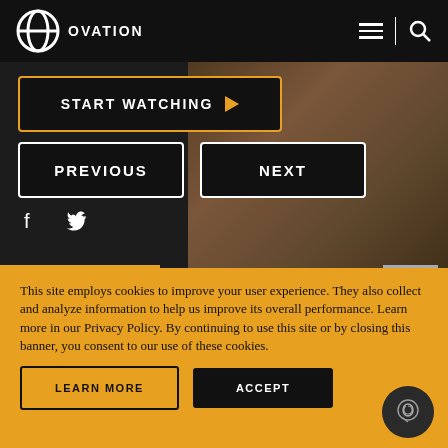OVATION — navigation bar with logo, hamburger menu, and search icon
[Figure (screenshot): Ovation TV website screenshot showing a dark background with a blurred photo of a person in dark clothing]
START WATCHING ▶
PREVIOUS
NEXT
[Figure (illustration): Facebook and Twitter social media icons in white]
This site employs cookies to improve your user experience. They also collect and analyze information to help us improve its overall performance. Learn more in our Privacy Policy. By continuing to use this site or by closing this banner, you consent to our use of these cookies.
LEARN MORE
ACCEPT